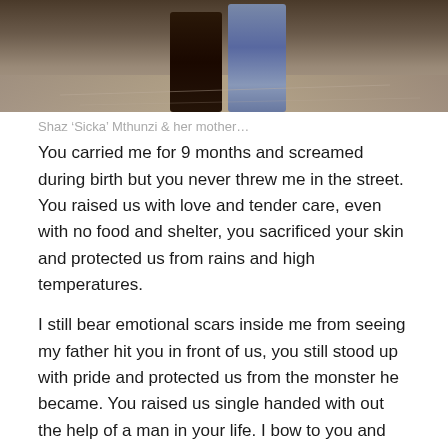[Figure (photo): Cropped photo showing two people standing, one in dark clothing and one in light blue jeans, on a sandy/rocky outdoor ground.]
Shaz ‘Sicka’ Mthunzi & her mother…
You carried me for 9 months and screamed during birth but you never threw me in the street. You raised us with love and tender care, even with no food and shelter, you sacrificed your skin and protected us from rains and high temperatures.
I still bear emotional scars inside me from seeing my father hit you in front of us, you still stood up with pride and protected us from the monster he became. You raised us single handed with out the help of a man in your life. I bow to you and say “Uyimbokodo”.
At the age of 16 things changed for the worst with no